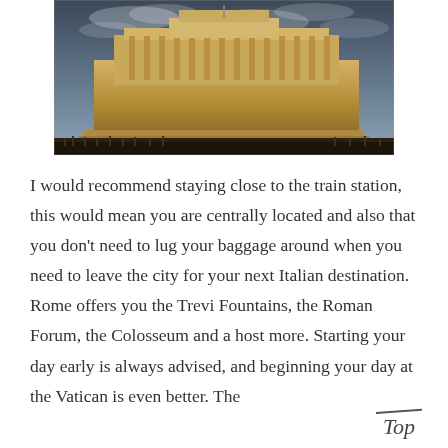[Figure (photo): Photograph of the Altare della Patria (Vittoriano monument) in Rome, Italy, viewed from below against a dramatic cloudy sky. The neoclassical marble monument features columns, statues, and an Italian flag. People and buildings are visible in the foreground.]
I would recommend staying close to the train station, this would mean you are centrally located and also that you don't need to lug your baggage around when you need to leave the city for your next Italian destination. Rome offers you the Trevi Fountains, the Roman Forum, the Colosseum and a host more. Starting your day early is always advised, and beginning your day at the Vatican is even better. The